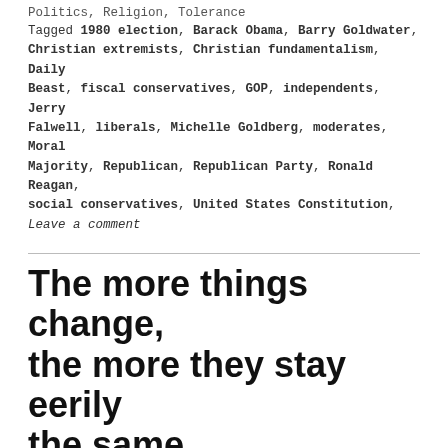Politics, Religion, Tolerance
Tagged 1980 election, Barack Obama, Barry Goldwater, Christian extremists, Christian fundamentalism, Daily Beast, fiscal conservatives, GOP, independents, Jerry Falwell, liberals, Michelle Goldberg, moderates, Moral Majority, Republican, Republican Party, Ronald Reagan, social conservatives, United States Constitution,
Leave a comment
The more things change, the more they stay eerily the same
First of all, don’t believe most of what’s coming out of the mouths of the political pros today, either the candidates or the party officials and consultants, including the ones disguised as Fox News commentators.  The winners of yesterday’s